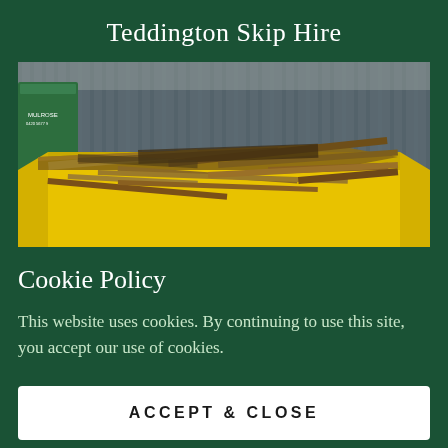Teddington Skip Hire
[Figure (photo): Yellow skip container filled with timber offcuts and wooden planks, set against a dark corrugated metal wall background with a green bin visible on the left.]
Cookie Policy
This website uses cookies. By continuing to use this site, you accept our use of cookies.
ACCEPT & CLOSE